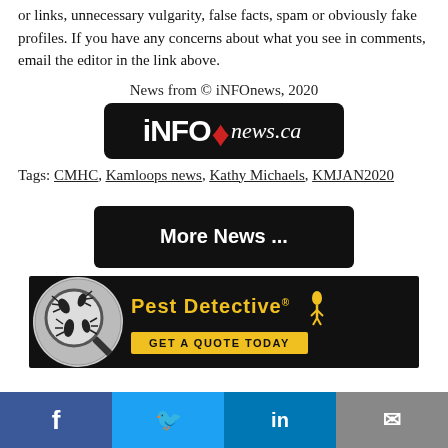or links, unnecessary vulgarity, false facts, spam or obviously fake profiles. If you have any concerns about what you see in comments, email the editor in the link above.
News from © iNFOnews, 2020
[Figure (logo): iNFOnews.ca logo — white text on black rounded rectangle]
Tags: CMHC, Kamloops news, Kathy Michaels, KMJAN2020
[Figure (screenshot): More News ... button — white text on black rounded rectangle]
[Figure (infographic): Pest Detective advertisement banner — dark background with insects in a magnifying glass circle, yellow Pest Detective text, GET A QUOTE TODAY yellow button]
[Figure (infographic): Social sharing bar at bottom: Facebook (blue), Twitter (light blue), LinkedIn (dark blue), Email (grey) icons]